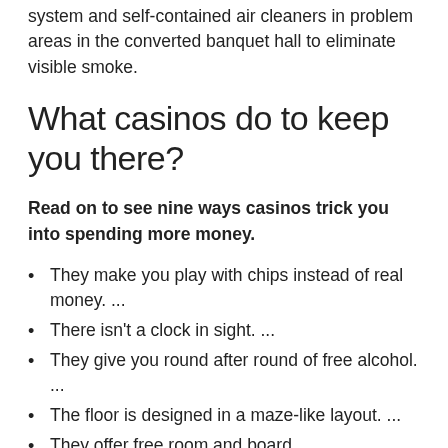system and self-contained air cleaners in problem areas in the converted banquet hall to eliminate visible smoke.
What casinos do to keep you there?
Read on to see nine ways casinos trick you into spending more money.
They make you play with chips instead of real money. ...
There isn't a clock in sight. ...
They give you round after round of free alcohol. ...
The floor is designed in a maze-like layout. ...
They offer free room and board